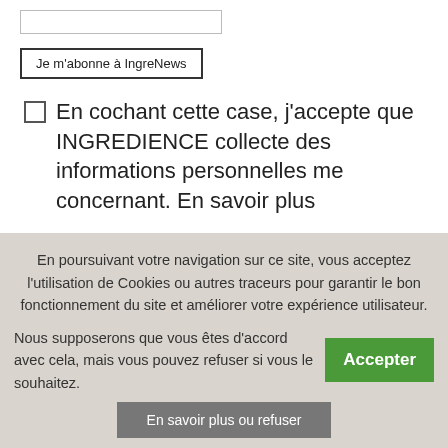[input field]
Je m'abonne à IngreNews
En cochant cette case, j'accepte que INGREDIENCE collecte des informations personnelles me concernant. En savoir plus
En poursuivant votre navigation sur ce site, vous acceptez l'utilisation de Cookies ou autres traceurs pour garantir le bon fonctionnement du site et améliorer votre expérience utilisateur.
Nous supposerons que vous êtes d'accord avec cela, mais vous pouvez refuser si vous le souhaitez.
Accepter
En savoir plus ou refuser